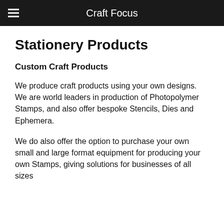Craft Focus
Stationery Products
Custom Craft Products
We produce craft products using your own designs. We are world leaders in production of Photopolymer Stamps, and also offer bespoke Stencils, Dies and Ephemera.
We do also offer the option to purchase your own small and large format equipment for producing your own Stamps, giving solutions for businesses of all sizes